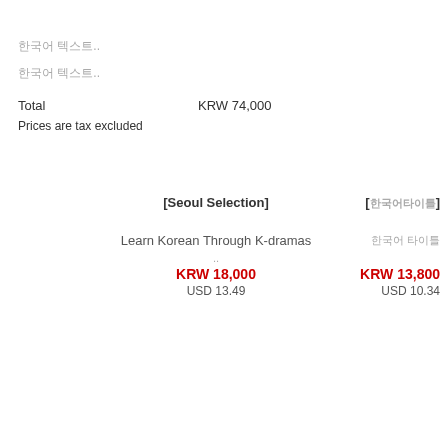한국어 텍스트..
한국어 텍스트..
|  |  |
| --- | --- |
| Total | KRW 74,000 |
Prices are tax excluded
| [Seoul Selection] | [한국어] |
| --- | --- |
| Learn Korean Through K-dramas | 한국어 타이틀 |
| .. |  |
| KRW 18,000 | KRW 13,800 |
| USD 13.49 | USD 10.34 |